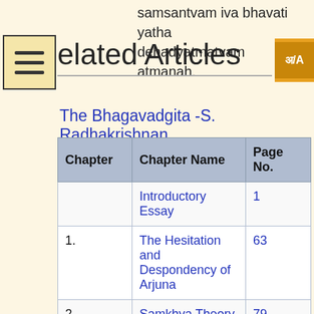samsantvam iva bhavati yatha dehadyatmatvam atmanah.
Related Articles
The Bhagavadgita -S. Radhakrishnan
| Chapter | Chapter Name | Page No. |
| --- | --- | --- |
|  | Introductory Essay | 1 |
| 1. | The Hesitation and Despondency of Arjuna | 63 |
| 2. | Samkhya Theory and Yoga Practice | 79 |
| 3. | Karma Yoga or the Method of Work | 107 |
| 4. | ... | ... |